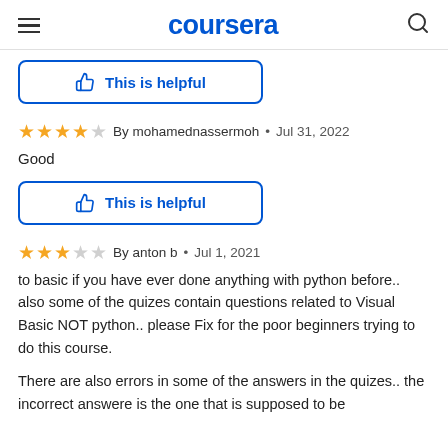coursera
[Figure (other): This is helpful button with thumbs up icon]
By mohamednassermoh • Jul 31, 2022
Good
[Figure (other): This is helpful button with thumbs up icon]
By anton b • Jul 1, 2021
to basic if you have ever done anything with python before.. also some of the quizes contain questions related to Visual Basic NOT python.. please Fix for the poor beginners trying to do this course.

There are also errors in some of the answers in the quizes.. the incorrect answere is the one that is supposed to be